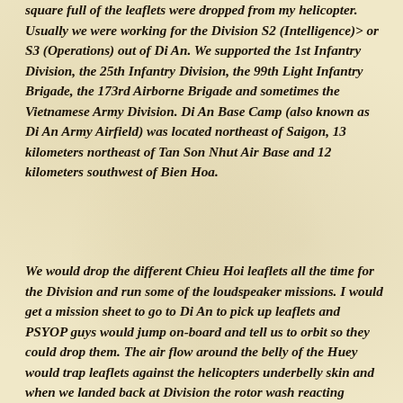square full of the leaflets were dropped from my helicopter. Usually we were working for the Division S2 (Intelligence)> or S3 (Operations) out of Di An. We supported the 1st Infantry Division, the 25th Infantry Division, the 99th Light Infantry Brigade, the 173rd Airborne Brigade and sometimes the Vietnamese Army Division. Di An Base Camp (also known as Di An Army Airfield) was located northeast of Saigon, 13 kilometers northeast of Tan Son Nhut Air Base and 12 kilometers southwest of Bien Hoa.
We would drop the different Chieu Hoi leaflets all the time for the Division and run some of the loudspeaker missions. I would get a mission sheet to go to Di An to pick up leaflets and PSYOP guys would jump on-board and tell us to orbit so they could drop them. The air flow around the belly of the Huey would trap leaflets against the helicopters underbelly skin and when we landed back at Division the rotor wash reacting